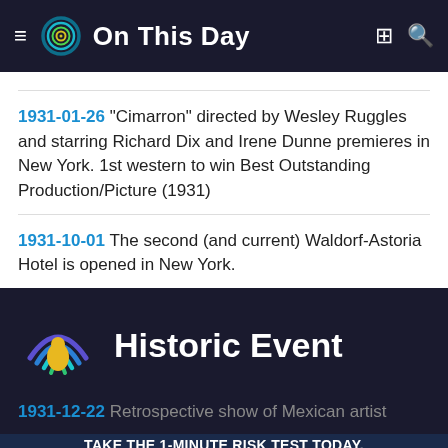On This Day
1931-01-26 "Cimarron" directed by Wesley Ruggles and starring Richard Dix and Irene Dunne premieres in New York. 1st western to win Best Outstanding Production/Picture (1931)
1931-10-01 The second (and current) Waldorf-Astoria Hotel is opened in New York.
Historic Event
1931-12-22 Retrospective show of Mexican artist
TAKE THE 1-MINUTE RISK TEST TODAY. DolHavePrediabetes.org  ad  AMA  CDC